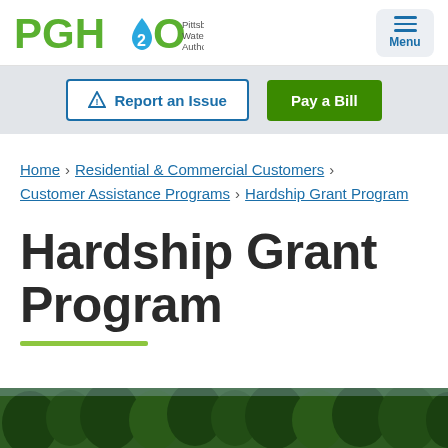PGH2O Pittsburgh Water & Sewer Authority | Menu
Report an Issue | Pay a Bill
Home > Residential & Commercial Customers > Customer Assistance Programs > Hardship Grant Program
Hardship Grant Program
[Figure (photo): Outdoor scene with green trees, appears to be a Pittsburgh park or natural area]